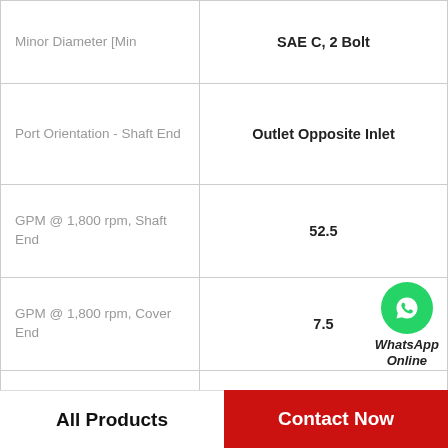| Specification | Value |
| --- | --- |
| Minor Diameter [Min | SAE C, 2 Bolt |
| Port Orientation - Shaft End | Outlet Opposite Inlet |
| GPM @ 1,800 rpm, Shaft End | 52.5 |
| GPM @ 1,800 rpm, Cover End | 7.5 |
| Shaft Seal Type | 2400 |
| Port Size | N/A |
| Shaft End RPM [Max | 5 gal/min @ 1200 rpm, 7.5 gal/min @ 1800 rpm |
[Figure (illustration): WhatsApp Online badge with green phone icon circle and italic bold text 'WhatsApp Online']
All Products
Contact Now